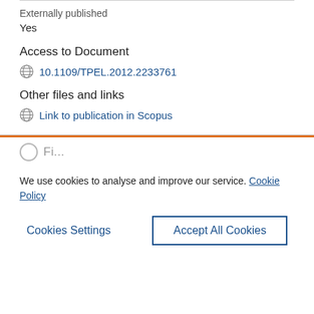Externally published
Yes
Access to Document
10.1109/TPEL.2012.2233761
Other files and links
Link to publication in Scopus
We use cookies to analyse and improve our service. Cookie Policy
Cookies Settings
Accept All Cookies